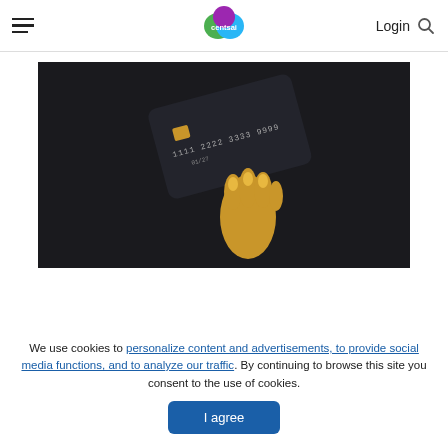CentSai — Login
[Figure (photo): A golden metallic hand holding a dark credit card showing card number 1111 2222 3333 9999 on a dark background]
We use cookies to personalize content and advertisements, to provide social media functions, and to analyze our traffic. By continuing to browse this site you consent to the use of cookies.
I agree